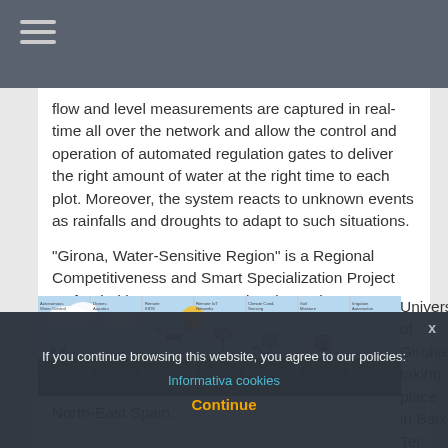flow and level measurements are captured in real-time all over the network and allow the control and operation of automated regulation gates to deliver the right amount of water at the right time to each plot. Moreover, the system reacts to unknown events as rainfalls and droughts to adapt to such situations.
"Girona, Water-Sensitive Region" is a Regional Competitiveness and Smart Specialization Project co-funded by European Regional Development Fund, Diputació de Girona and University of Girona taking place in Baix Ter area. North-East Spain.
[Figure (infographic): Illustrated infographic showing components of a smart water management system including autonomous water control, drones, remote sensing, remote IoT networks, climate condition sensing, soil moisture monitoring, irrigation automation, and SCADA systems, depicted over a stylized landscape with sky, fields, and irrigation equipment.]
If you continue browsing this website, you agree to our policies: Informativa cookies
Continue